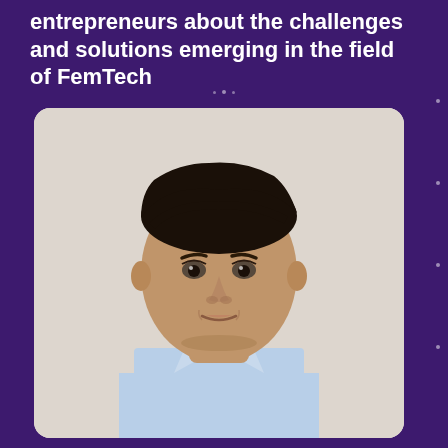entrepreneurs about the challenges and solutions emerging in the field of FemTech
[Figure (photo): Headshot photo of a man with dark hair wearing a light blue collared shirt, against a light neutral background, displayed in a rounded-corner card]